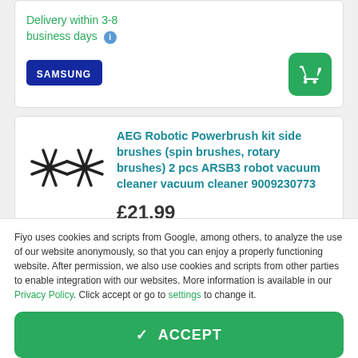Delivery within 3-8 business days
[Figure (logo): Samsung blue oval logo]
[Figure (illustration): Green shopping cart button]
AEG Robotic Powerbrush kit side brushes (spin brushes, rotary brushes) 2 pcs ARSB3 robot vacuum cleaner vacuum cleaner 9009230773
£21.99
In stock- Delivery within
Fiyo uses cookies and scripts from Google, among others, to analyze the use of our website anonymously, so that you can enjoy a properly functioning website. After permission, we also use cookies and scripts from other parties to enable integration with our websites. More information is available in our Privacy Policy. Click accept or go to settings to change it.
✓ ACCEPT